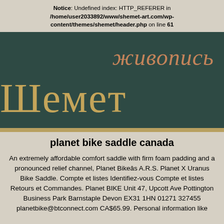Notice: Undefined index: HTTP_REFERER in /home/user2033892/www/shemet-art.com/wp-content/themes/shemet/header.php on line 61
[Figure (logo): Dark teal/green banner with Cyrillic text. Large gold serif text reads 'Шемет' (Shemet) and cursive copper/rust italic text reads 'живопись' (zhivopis) above it.]
planet bike saddle canada
An extremely affordable comfort saddle with firm foam padding and a pronounced relief channel, Planet Bike's A.R.S. Planet X Uranus Bike Saddle. Compte et listes Identifiez-vous Compte et listes Retours et Commandes. Planet BIKE Unit 47, Upcott Ave Pottington Business Park Barnstaple Devon EX31 1HN 01271 327455 planetbike@btconnect.com CA$65.99. Personal information like